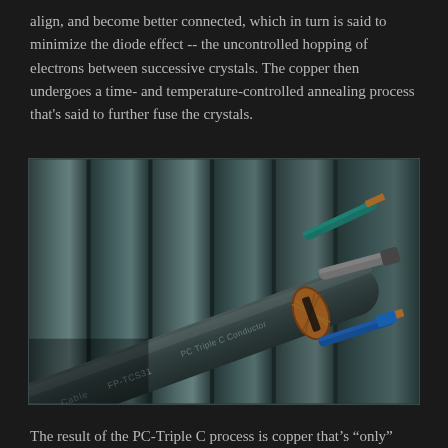align, and become better connected, which in turn is said to minimize the diode effect -- the uncontrolled hopping of electrons between successive crystals. The copper then undergoes a time- and temperature-controlled annealing process that's said to further fuse the crystals.
[Figure (photo): Close-up photo of a cable labeled 'Cable FP-TCS31 PC Triple C Conductor' with its end stripped to show internal conductors: teal/green wires, blue wire, copper braided shielding, and a grey cylindrical conductor, set against a background of vertical grey cylindrical tubes/pipes.]
The result of the PC-Triple C process is copper that's "only"